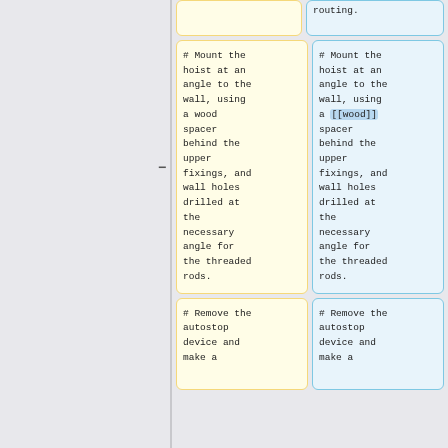routing.
# Mount the hoist at an angle to the wall, using a wood spacer behind the upper fixings, and wall holes drilled at the necessary angle for the threaded rods.
# Mount the hoist at an angle to the wall, using a [[wood]] spacer behind the upper fixings, and wall holes drilled at the necessary angle for the threaded rods.
# Remove the autostop device and make a
# Remove the autostop device and make a